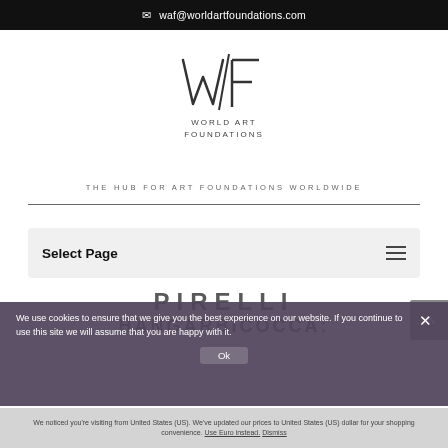waf@worldartfoundations.com
[Figure (logo): World Art Foundations (WAF) logo — stylized W/F lettermark above text 'WORLD ART FOUNDATIONS']
THE HUB FOR ART FOUNDATIONS WORLDWIDE
Select Page
PIRELLI HANGARBICOCCA:
We use cookies to ensure that we give you the best experience on our website. If you continue to use this site we will assume that you are happy with it.
Ok
We noticed you're visiting from United States (US). We've updated our prices to United States (US) dollar for your shopping convenience. Use Euro instead. Dismiss